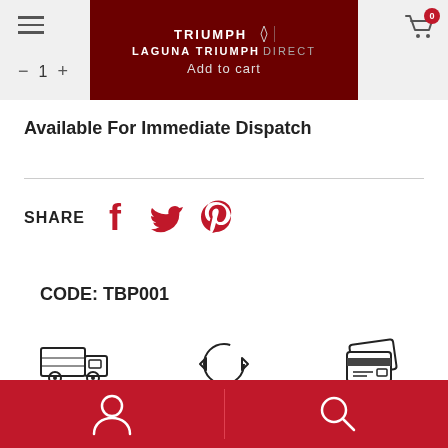TRIUMPH | LAGUNA TRIUMPH DIRECT — Add to cart
Available For Immediate Dispatch
SHARE
CODE: TBP001
[Figure (infographic): Three icons: delivery truck (3-5 DAYS STANDARD), circular arrows (EASY RETURNS*), credit cards (EASY PAYMENT)]
Bottom navigation bar with person/account icon and search icon